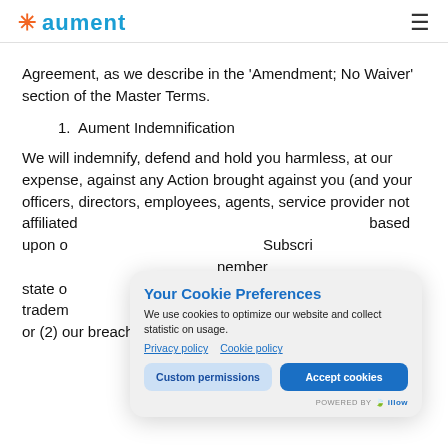aument
Agreement, as we describe in the 'Amendment; No Waiver' section of the Master Terms.
1. Aument Indemnification
We will indemnify, defend and hold you harmless, at our expense, against any Action brought against you (and your officers, directors, employees, agents, service providers) not affiliated based upon our Subscription member state of trademark ation"), or (2) our breach of our confidentiality obligations or our
[Figure (screenshot): Cookie consent modal overlay with title 'Your Cookie Preferences', description text about cookie usage, links to Privacy policy and Cookie policy, buttons for Custom permissions and Accept cookies, and powered by illow branding.]